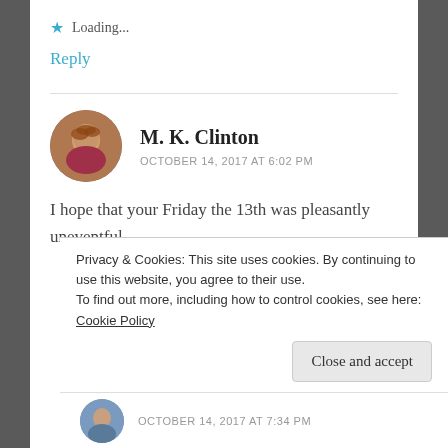Loading...
Reply
M. K. Clinton
OCTOBER 14, 2017 AT 6:02 PM
I hope that your Friday the 13th was pleasantly uneventful.
Loading...
Privacy & Cookies: This site uses cookies. By continuing to use this website, you agree to their use.
To find out more, including how to control cookies, see here: Cookie Policy
Close and accept
OCTOBER 14, 2017 AT 7:34 PM